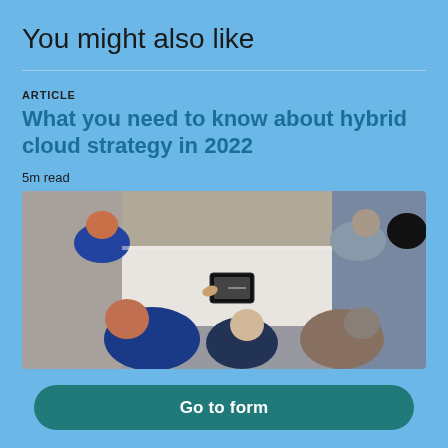You might also like
ARTICLE
What you need to know about hybrid cloud strategy in 2022
5m read
[Figure (photo): Overhead view of people gathered around a white table, one person holding a tablet device]
Go to form